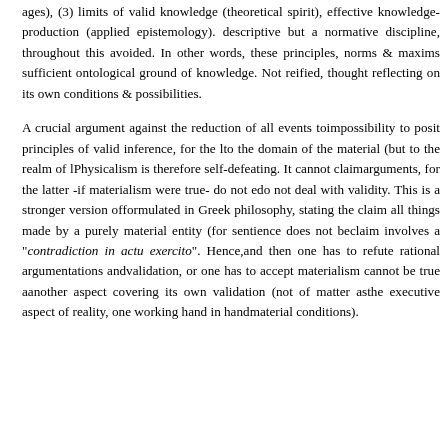ages), (3) limits of valid knowledge (theoretical spirit), effective knowledge-production (applied epistemology). Not descriptive but a normative discipline, throughout this avoided. In other words, these principles, norms & maxims sufficient ontological ground of knowledge. Not reified, thought reflecting on its own conditions & possibilities.
A crucial argument against the reduction of all events to impossibility to posit principles of valid inference, for the to the domain of the material (but to the realm of Physicalism is therefore self-defeating. It cannot claim arguments, for the latter -if materialism were true- do not e do not deal with validity. This is a stronger version of formulated in Greek philosophy, stating the claim all things made by a purely material entity (for sentience does not be claim involves a "contradiction in actu exercito". Hence, and then one has to refute rational argumentations and validation, or one has to accept materialism cannot be true a another aspect covering its own validation (not of matter as the executive aspect of reality, one working hand in hand material conditions).